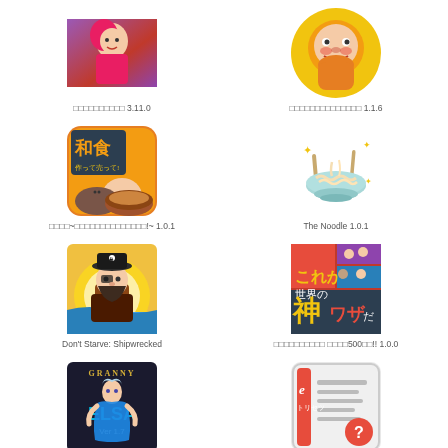[Figure (screenshot): App icon - manga/anime style purple character]
□□□□□□□□□□ 3.11.0
[Figure (screenshot): App icon - yellow monkey character on golden background]
□□□□□□□□□□□□□□ 1.1.6
[Figure (screenshot): App icon - Washoku Japanese food game with characters]
□□□□~□□□□□□□□□□□□□□!~ 1.0.1
[Figure (screenshot): App icon - The Noodle, ramen noodles in bowl illustration]
The Noodle 1.0.1
[Figure (screenshot): App icon - Don't Starve: Shipwrecked pirate character]
Don't Starve: Shipwrecked
[Figure (screenshot): App icon - Japanese kamiwaza (神ワザ) video compilation app]
□□□□□□□□□□ □□□□500□□!! 1.0.0
[Figure (screenshot): App icon - Granny Elsa Ver 1.7 horror game]
[Figure (screenshot): App icon - eトリセツ (e-manual) app with question mark]